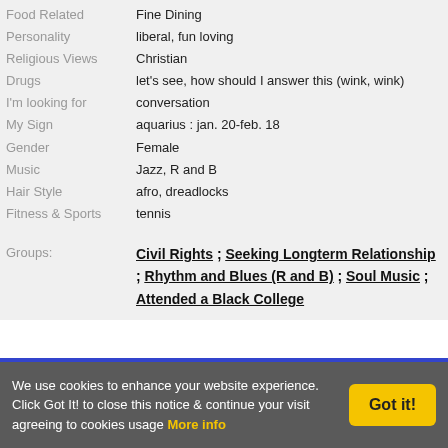| Label | Value |
| --- | --- |
| Food Related | Fine Dining |
| Personality | liberal, fun loving |
| Religious Views | Christian |
| Drugs | let's see, how should I answer this (wink, wink) |
| I'm looking for | conversation |
| My Sign | aquarius : jan. 20-feb. 18 |
| Gender | Female |
| Music | Jazz, R and B |
| Hair Style | afro, dreadlocks |
| Fitness & Sports | tennis |
Groups: Civil Rights ; Seeking Longterm Relationship ; Rhythm and Blues (R and B) ; Soul Music ; Attended a Black College
About My Match (What I'm looking for)
We use cookies to enhance your website experience. Click Got It! to close this notice & continue your visit agreeing to cookies usage  More info